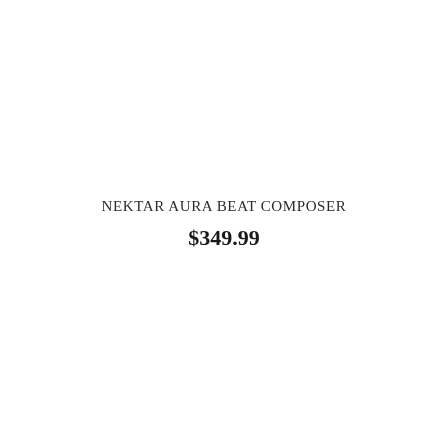NEKTAR AURA BEAT COMPOSER
$349.99